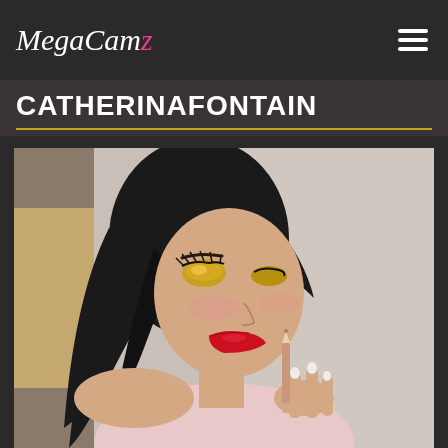MegaCamz
CATHERINAFONTAIN
[Figure (photo): Portrait photo of a young woman with long black hair, colorful eye makeup with gold/yellow eyeshadow, red lipstick, applying lip liner with her right hand. She is wearing a light pink top. The background is a blurred indoor setting.]